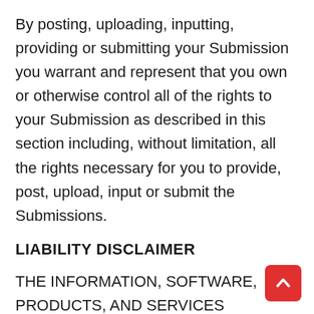By posting, uploading, inputting, providing or submitting your Submission you warrant and represent that you own or otherwise control all of the rights to your Submission as described in this section including, without limitation, all the rights necessary for you to provide, post, upload, input or submit the Submissions.
LIABILITY DISCLAIMER
THE INFORMATION, SOFTWARE, PRODUCTS, AND SERVICES INCLUDED IN OR AVAILABLE THROUGH THE Eastern Nebraska Gun Club WEB SITE MA INCLUDE INACCURACIES OR TYPOGRAPHICAL